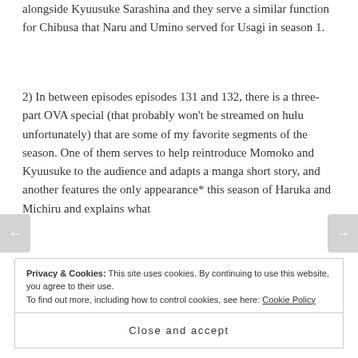alongside Kyuusuke Sarashina and they serve a similar function for Chibusa that Naru and Umino served for Usagi in season 1.
2) In between episodes episodes 131 and 132, there is a three-part OVA special (that probably won't be streamed on hulu unfortunately) that are some of my favorite segments of the season. One of them serves to help reintroduce Momoko and Kyuusuke to the audience and adapts a manga short story, and another features the only appearance* this season of Haruka and Michiru and explains what
Privacy & Cookies: This site uses cookies. By continuing to use this website, you agree to their use.
To find out more, including how to control cookies, see here: Cookie Policy
Close and accept